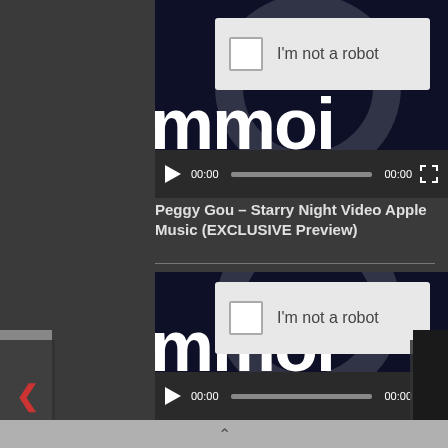[Figure (screenshot): Video player showing a dark navy background with large white bold text and a CAPTCHA 'I'm not a robot' overlay with checkbox. Video controls show play button, 00:00 timestamps, progress bar, and fullscreen icon.]
Peggy Gou – Starry Night Video Apple Music (EXCLUSIVE Preview)
[Figure (screenshot): Second video player showing same dark navy background with large white bold text and a CAPTCHA 'I'm not a robot' overlay with checkbox. Video controls show play button, 00:00 timestamps, progress bar, and fullscreen icon.]
Worldwide